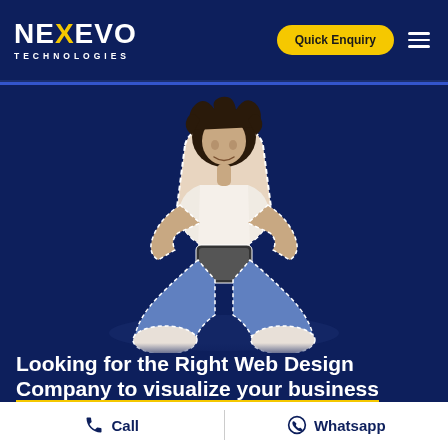[Figure (logo): Nexevo Technologies logo — white bold text with yellow X, subtext TECHNOLOGIES in spaced capitals]
Quick Enquiry
[Figure (photo): Young woman with curly hair sitting cross-legged on floor, looking at smartphone, wearing white t-shirt and jeans, cutout against dark blue background with white dashed outline]
Looking for the Right Web Design Company to visualize your business
Call   Whatsapp